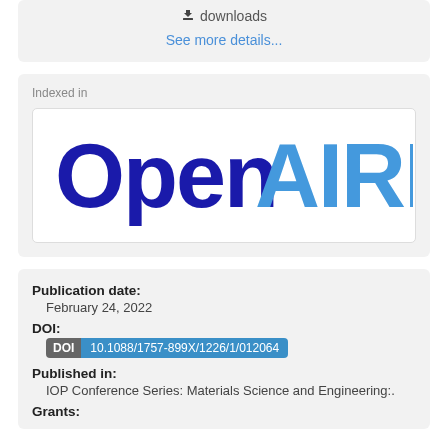downloads
See more details...
Indexed in
[Figure (logo): OpenAIRE logo — 'Open' in dark navy blue and 'AIRE' in lighter blue, rounded sans-serif typeface]
Publication date:
February 24, 2022
DOI:
DOI 10.1088/1757-899X/1226/1/012064
Published in:
IOP Conference Series: Materials Science and Engineering:.
Grants: